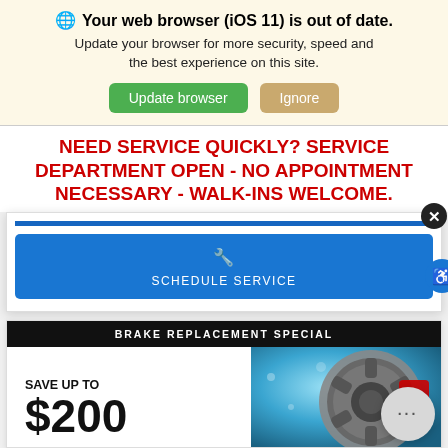Your web browser (iOS 11) is out of date. Update your browser for more security, speed and the best experience on this site.
NEED SERVICE QUICKLY? SERVICE DEPARTMENT OPEN - NO APPOINTMENT NECESSARY - WALK-INS WELCOME.
[Figure (screenshot): Schedule Service button in blue modal card with close button and accessibility icon]
[Figure (screenshot): Brake Replacement Special promo card with 'SAVE UP TO $200' text and brake disc image, chat bubble overlay]